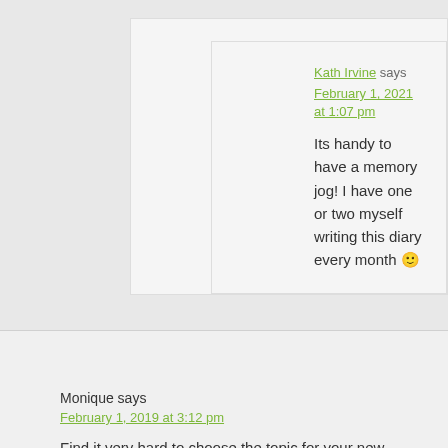Kath Irvine says
February 1, 2021 at 1:07 pm
Its handy to have a memory jog! I have one or two myself writing this diary every month 🙂
Monique says
February 1, 2019 at 3:12 pm
Find it very hard to choose the topic for your new